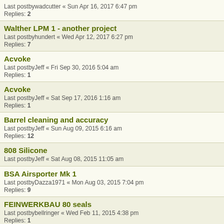Last postbywadcutter « Sun Apr 16, 2017 6:47 pm
Replies: 2
Walther LPM 1 - another project
Last postbyhundert « Wed Apr 12, 2017 6:27 pm
Replies: 7
Acvoke
Last postbyJeff « Fri Sep 30, 2016 5:04 am
Replies: 1
Acvoke
Last postbyJeff « Sat Sep 17, 2016 1:16 am
Replies: 1
Barrel cleaning and accuracy
Last postbyJeff « Sun Aug 09, 2015 6:16 am
Replies: 12
808 Silicone
Last postbyJeff « Sat Aug 08, 2015 11:05 am
BSA Airsporter Mk 1
Last postbyDazza1971 « Mon Aug 03, 2015 7:04 pm
Replies: 9
FEINWERKBAU 80 seals
Last postbybellringer « Wed Feb 11, 2015 4:38 pm
Replies: 1
Gamo MC the Super Gamo
Last postbyjedu « Sun Jan 04, 2015 9:13 am
Replies: 8
FAS604 Mk2 trigger problem
Last postbymicken « Sun Nov 23, 2014 5:32 pm
Replies: 1